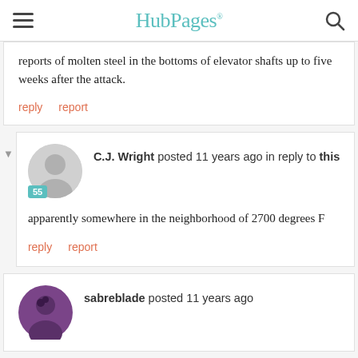HubPages
reports of molten steel in the bottoms of elevator shafts up to five weeks after the attack.
reply   report
C.J. Wright posted 11 years ago in reply to this
apparently somewhere in the neighborhood of 2700 degrees F
reply   report
sabreblade posted 11 years ago